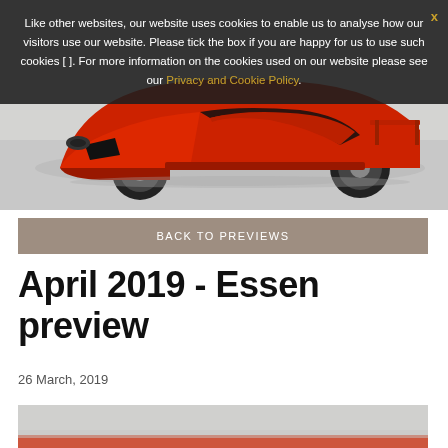[Figure (photo): Red Ferrari F40 sports car on a light grey background, viewed from front-left angle]
Like other websites, our website uses cookies to enable us to analyse how our visitors use our website. Please tick the box if you are happy for us to use such cookies [ ]. For more information on the cookies used on our website please see our Privacy and Cookie Policy.
BACK TO PREVIEWS
April 2019 - Essen preview
26 March, 2019
[Figure (photo): Partial view of a red car on a light background, bottom of page]